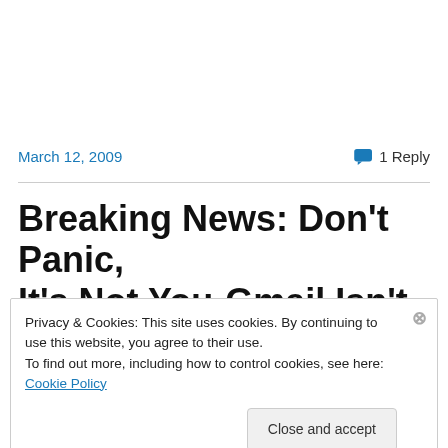March 12, 2009
1 Reply
Breaking News: Don't Panic, It's Not You-Gmail Isn't
Privacy & Cookies: This site uses cookies. By continuing to use this website, you agree to their use.
To find out more, including how to control cookies, see here: Cookie Policy
Close and accept